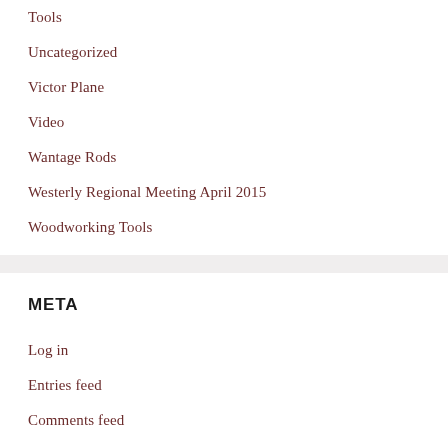Tools
Uncategorized
Victor Plane
Video
Wantage Rods
Westerly Regional Meeting April 2015
Woodworking Tools
META
Log in
Entries feed
Comments feed